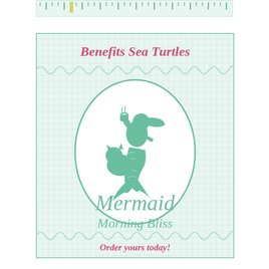[Figure (illustration): Top ruler/measurement strip with tick marks and a yellow-green highlight marker]
[Figure (illustration): Product label card for Mermaid Morning Bliss tea. Light mint/seafoam green background with grid pattern, decorative scallop border top and bottom, teal oval frame containing a silhouette of a mermaid holding a tea cup with a cat nearby. Text 'Benefits Sea Turtles' in pink at top, 'Mermaid Morning Bliss' in teal script in center-bottom, 'Order yours today!' in pink at bottom.]